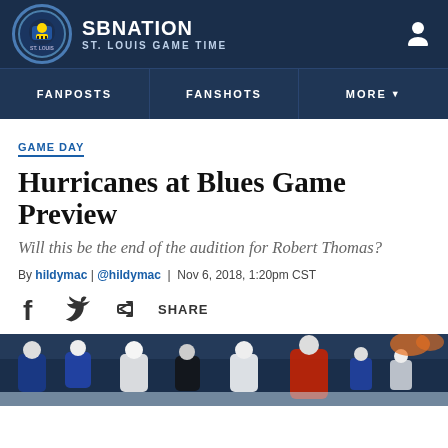SBNATION / ST. LOUIS GAME TIME
FANPOSTS | FANSHOTS | MORE
GAME DAY
Hurricanes at Blues Game Preview
Will this be the end of the audition for Robert Thomas?
By hildymac | @hildymac | Nov 6, 2018, 1:20pm CST
SHARE
[Figure (photo): Hockey game action photo showing players on ice, Blues vs Hurricanes]